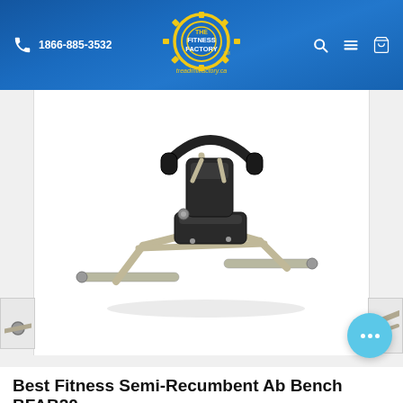1866-885-3532  The Fitness Factory  treadmillfactory.ca
[Figure (photo): Semi-recumbent ab bench fitness equipment shown at an angle, with silver/grey metal frame, black padded seat and back support, and curved handlebar. Smaller partial images of the equipment visible on left and right sides.]
Best Fitness Semi-Recumbent Ab Bench BFAB20